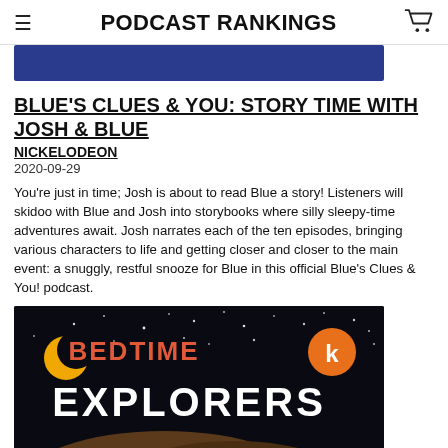PODCAST RANKINGS
[Figure (other): Blue banner image strip at top of content]
BLUE'S CLUES & YOU: STORY TIME WITH JOSH & BLUE
NICKELODEON
2020-09-29
You're just in time; Josh is about to read Blue a story! Listeners will skidoo with Blue and Josh into storybooks where silly sleepy-time adventures await. Josh narrates each of the ten episodes, bringing various characters to life and getting closer and closer to the main event: a snuggly, restful snooze for Blue in this official Blue's Clues & You! podcast.
[Figure (illustration): Bedtime Explorers podcast cover art: dark night sky with stars, crescent moon, text 'BEDTIME EXPLORERS' in coral/white letters, Kinderling K logo orange circle top right, brown hill silhouette at bottom]